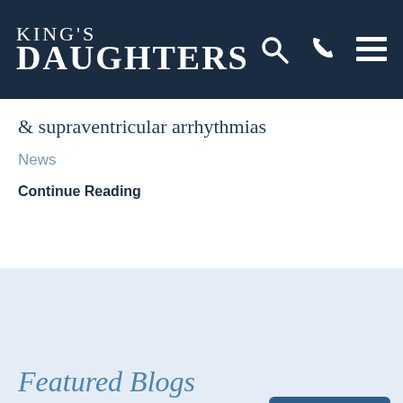King's Daughters
& supraventricular arrhythmias
News
Continue Reading
Featured Blogs
CHAT LIVE